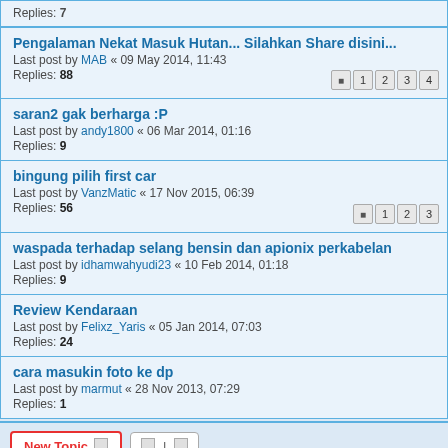Replies: 7
Pengalaman Nekat Masuk Hutan... Silahkan Share disini...
Last post by MAB « 09 May 2014, 11:43
Replies: 88
saran2 gak berharga :P
Last post by andy1800 « 06 Mar 2014, 01:16
Replies: 9
bingung pilih first car
Last post by VanzMatic « 17 Nov 2015, 06:39
Replies: 56
waspada terhadap selang bensin dan apionix perkabelan
Last post by idhamwahyudi23 « 10 Feb 2014, 01:18
Replies: 9
Review Kendaraan
Last post by Felixz_Yaris « 05 Jan 2014, 07:03
Replies: 24
cara masukin foto ke dp
Last post by marmut « 28 Nov 2013, 07:29
Replies: 1
New Topic  178 topics 1 2 3 4
Jump to